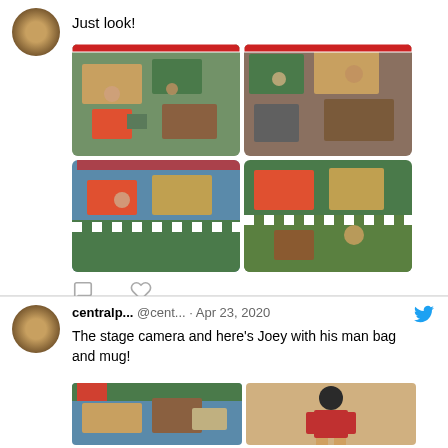[Figure (screenshot): Twitter/social media post with 'Just look!' text and 4-image grid showing LEGO Central Perk scenes from overhead]
Just look!
[Figure (photo): 2x2 grid of LEGO Central Perk set photos taken from overhead]
[Figure (screenshot): Twitter post by centralp... @cent... Apr 23, 2020: 'The stage camera and here's Joey with his man bag and mug!' with two photos of LEGO set]
centralp... @cent... · Apr 23, 2020
The stage camera and here's Joey with his man bag and mug!
[Figure (photo): Two photos: LEGO stage camera setup and LEGO Joey minifigure with man bag and mug]